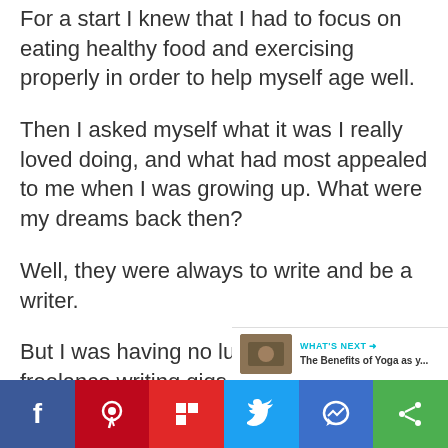For a start I knew that I had to focus on eating healthy food and exercising properly in order to help myself age well.
Then I asked myself what it was I really loved doing, and what had most appealed to me when I was growing up. What were my dreams back then?
Well, they were always to write and be a writer.
But I was having no luck at getting freelance writing gigs in Austral…
[Figure (screenshot): Social sharing sidebar with heart/like button showing count of 2 and a share button]
[Figure (screenshot): What's Next overlay with thumbnail and text 'The Benefits of Yoga as y...']
[Figure (infographic): Bottom social sharing bar with icons for Facebook, Pinterest, Flipboard, Twitter, Messenger, and generic share]